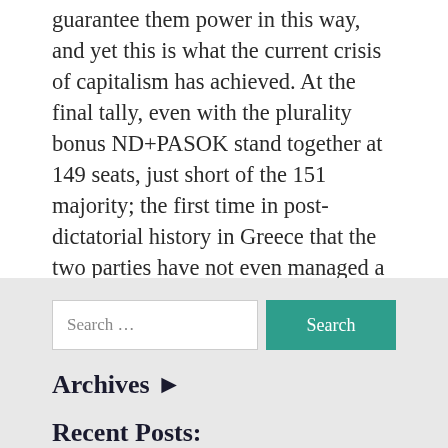guarantee them power in this way, and yet this is what the current crisis of capitalism has achieved. At the final tally, even with the plurality bonus ND+PASOK stand together at 149 seats, just short of the 151 majority; the first time in post-dictatorial history in Greece that the two parties have not even managed a majority together, let alone separately. Continue reading →
Search …
Archives ▶
Recent Posts: